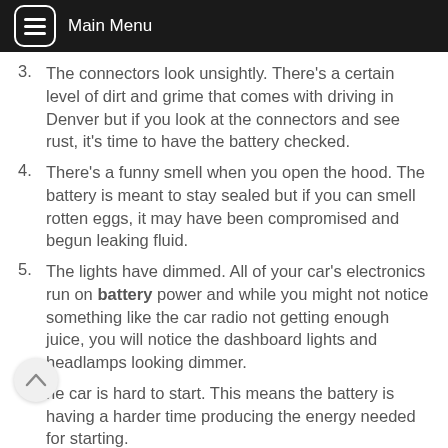Main Menu
3. The connectors look unsightly. There's a certain level of dirt and grime that comes with driving in Denver but if you look at the connectors and see rust, it's time to have the battery checked.
4. There's a funny smell when you open the hood. The battery is meant to stay sealed but if you can smell rotten eggs, it may have been compromised and begun leaking fluid.
5. The lights have dimmed. All of your car's electronics run on battery power and while you might not notice something like the car radio not getting enough juice, you will notice the dashboard lights and headlamps looking dimmer.
6. The car is hard to start. This means the battery is having a harder time producing the energy needed for starting.
7. The check engine light tells you so. This is perhaps the